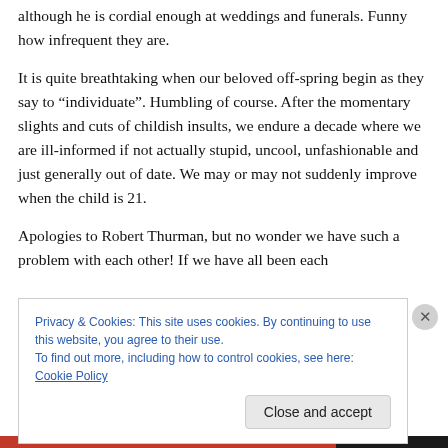although he is cordial enough at weddings and funerals. Funny how infrequent they are.
It is quite breathtaking when our beloved off-spring begin as they say to “individuate”. Humbling of course. After the momentary slights and cuts of childish insults, we endure a decade where we are ill-informed if not actually stupid, uncool, unfashionable and just generally out of date. We may or may not suddenly improve when the child is 21.
Apologies to Robert Thurman, but no wonder we have such a problem with each other! If we have all been each
Privacy & Cookies: This site uses cookies. By continuing to use this website, you agree to their use.
To find out more, including how to control cookies, see here: Cookie Policy